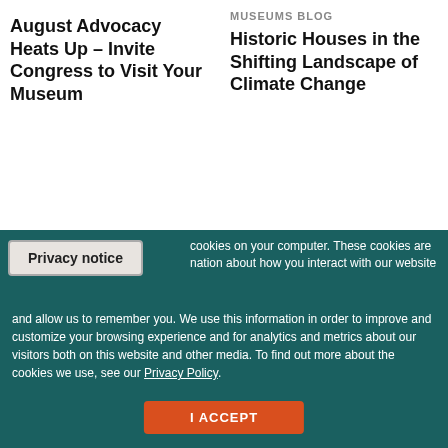August Advocacy Heats Up – Invite Congress to Visit Your Museum
MUSEUMS BLOG
Historic Houses in the Shifting Landscape of Climate Change
[Figure (screenshot): American Alliance of Museums card with teal lock overlay icon]
[Figure (screenshot): American Alliance of Museums card]
Privacy notice
cookies on your computer. These cookies are nation about how you interact with our website and allow us to remember you. We use this information in order to improve and customize your browsing experience and for analytics and metrics about our visitors both on this website and other media. To find out more about the cookies we use, see our Privacy Policy.
I ACCEPT